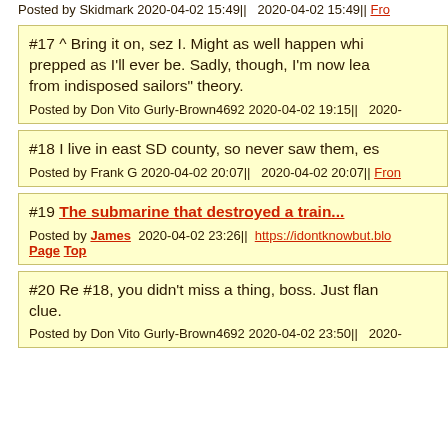Posted by Skidmark 2020-04-02 15:49||   2020-04-02 15:49|| Fro...
#17 ^ Bring it on, sez I. Might as well happen whi... prepped as I'll ever be. Sadly, though, I'm now lea... from indisposed sailors" theory.
Posted by Don Vito Gurly-Brown4692 2020-04-02 19:15||   2020-
#18 I live in east SD county, so never saw them, es...
Posted by Frank G 2020-04-02 20:07||   2020-04-02 20:07|| Fron...
#19 The submarine that destroyed a train...
Posted by James  2020-04-02 23:26||  https://idontknowbut.blo... Page Top
#20 Re #18, you didn't miss a thing, boss. Just fla... clue.
Posted by Don Vito Gurly-Brown4692 2020-04-02 23:50||   2020-